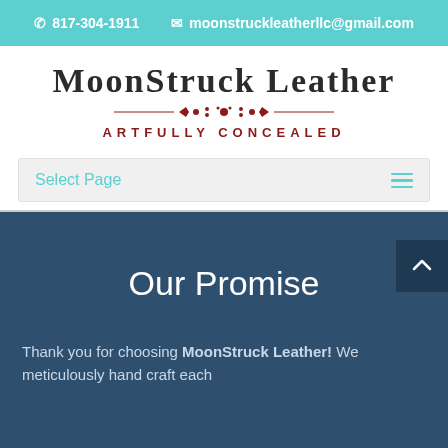817-304-1911  moonstruckleatherllc@gmail.com
[Figure (logo): MoonStruck Leather logo with ornamental divider and tagline ARTFULLY CONCEALED]
Select Page
Our Promise
Thank you for choosing MoonStruck Leather! We meticulously hand craft each